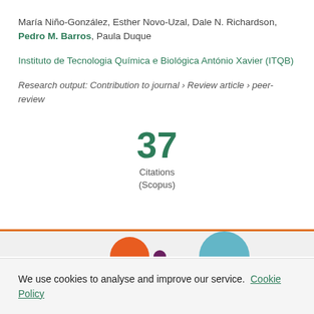María Niño-González, Esther Novo-Uzal, Dale N. Richardson, Pedro M. Barros, Paula Duque
Instituto de Tecnologia Química e Biológica António Xavier (ITQB)
Research output: Contribution to journal › Review article › peer-review
37
Citations
(Scopus)
[Figure (infographic): Partial view of colored bubbles/circles at the bottom of the page, including an orange circle and a blue circle]
We use cookies to analyse and improve our service. Cookie Policy